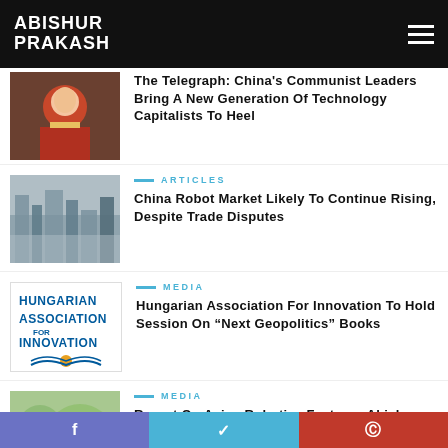ABISHUR PRAKASH
[Figure (photo): Photo of a person in red clothing with illustrated caricature overlay]
The Telegraph: China's Communist Leaders Bring A New Generation Of Technology Capitalists To Heel
[Figure (photo): Aerial photo of a city skyline with foggy skyscrapers]
ARTICLES
China Robot Market Likely To Continue Rising, Despite Trade Disputes
[Figure (logo): Hungarian Association For Innovation logo in blue and gold]
MEDIA
Hungarian Association For Innovation To Hold Session On “Next Geopolitics” Books
[Figure (photo): Map of Asia/world with green and blue coloring]
MEDIA
Report On Asian Robotics Features Abishur Prakash’s Insights
Share on Facebook | Share on Twitter | Share on Pinterest